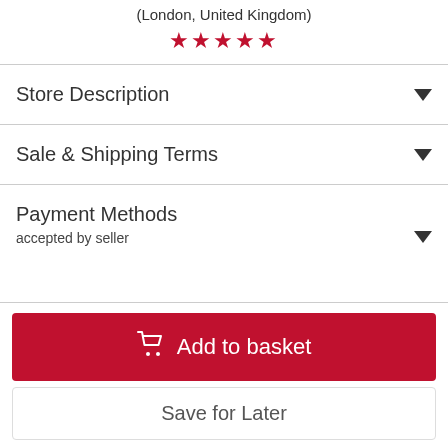(London, United Kingdom)
[Figure (other): Five red star rating icons]
Store Description
Sale & Shipping Terms
Payment Methods
accepted by seller
Add to basket
Save for Later